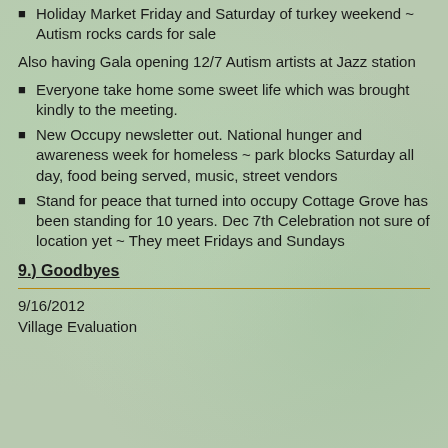Holiday Market Friday and Saturday of turkey weekend ~ Autism rocks cards for sale
Also having Gala opening 12/7 Autism artists at Jazz station
Everyone take home some sweet life which was brought kindly to the meeting.
New Occupy newsletter out. National hunger and awareness week for homeless ~ park blocks Saturday all day, food being served, music, street vendors
Stand for peace that turned into occupy Cottage Grove has been standing for 10 years. Dec 7th Celebration not sure of location yet ~ They meet Fridays and Sundays
9.) Goodbyes
9/16/2012
Village Evaluation